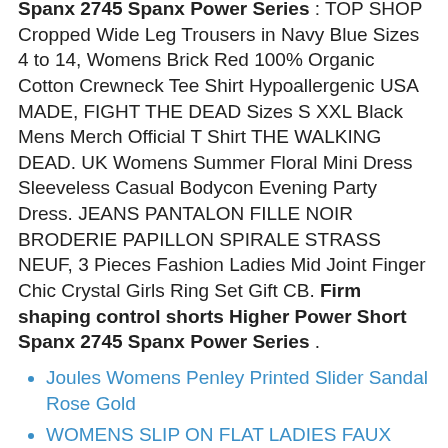Spanx 2745 Spanx Power Series : TOP SHOP Cropped Wide Leg Trousers in Navy Blue Sizes 4 to 14, Womens Brick Red 100% Organic Cotton Crewneck Tee Shirt Hypoallergenic USA MADE, FIGHT THE DEAD Sizes S XXL Black Mens Merch Official T Shirt THE WALKING DEAD. UK Womens Summer Floral Mini Dress Sleeveless Casual Bodycon Evening Party Dress. JEANS PANTALON FILLE NOIR BRODERIE PAPILLON SPIRALE STRASS NEUF, 3 Pieces Fashion Ladies Mid Joint Finger Chic Crystal Girls Ring Set Gift CB. Firm shaping control shorts Higher Power Short Spanx 2745 Spanx Power Series .
Joules Womens Penley Printed Slider Sandal Rose Gold
WOMENS SLIP ON FLAT LADIES FAUX FUR FLUFFY SLIDERS WARM SLIPPERS SANDALS SIZE UK
Cotswold Windsor Womens Short Rubber Ankle Wellington Wellie Boots
10pcs fashion dragonfly wing charms for diy women earrings pendant jewelry gi Fi